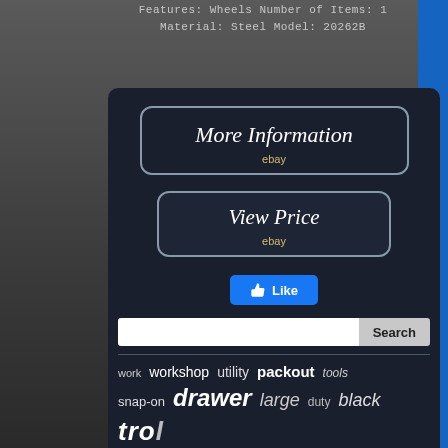Features: Wheels Number of Items: 1 Material: Steel Model: 20262B
[Figure (screenshot): eBay listing button: More Information with ebay logo]
[Figure (screenshot): eBay listing button: View Price with ebay logo]
[Figure (screenshot): Facebook Like button]
[Figure (screenshot): Social sharing icons: Facebook, Twitter, Pinterest, Email]
[Figure (screenshot): Search bar with Search button]
work
workshop
utility
packout
tools
snap-on
drawer
large
duty
black